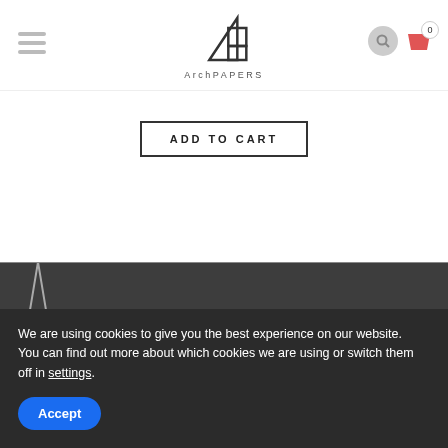[Figure (logo): ArchPAPERS logo with geometric triangle/square mark above the text 'ArchPAPERS']
[Figure (infographic): Hamburger menu icon (three horizontal lines) on the left, search icon (circle) and shopping cart icon with badge '0' on the right]
ADD TO CART
[Figure (logo): Partial ArchPAPERS logo visible in dark footer area]
We are using cookies to give you the best experience on our website.
You can find out more about which cookies we are using or switch them off in settings.
Accept